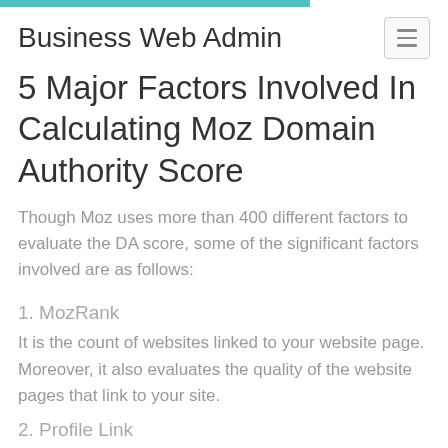Business Web Admin
5 Major Factors Involved In Calculating Moz Domain Authority Score
Though Moz uses more than 400 different factors to evaluate the DA score, some of the significant factors involved are as follows:
1. MozRank
It is the count of websites linked to your website page. Moreover, it also evaluates the quality of the website pages that link to your site.
2. Profile Link